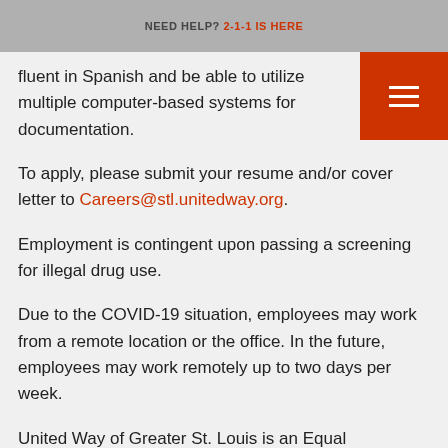NEED HELP? 2-1-1 IS HERE
fluent in Spanish and be able to utilize multiple computer-based systems for documentation.
To apply, please submit your resume and/or cover letter to Careers@stl.unitedway.org.
Employment is contingent upon passing a screening for illegal drug use.
Due to the COVID-19 situation, employees may work from a remote location or the office. In the future, employees may work remotely up to two days per week.
United Way of Greater St. Louis is an Equal Opportunity Employer.